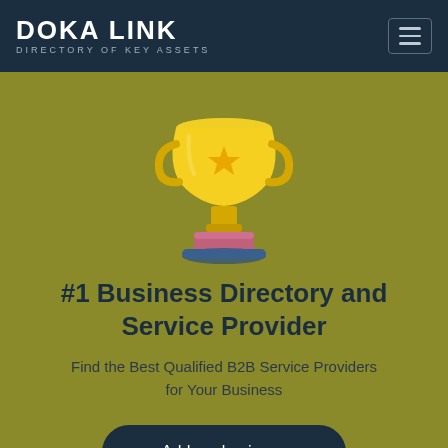DOKALINK DIRECTORY OF KEY ASSETS
[Figure (illustration): Gold trophy cup with a star emblem and pink/magenta base with blue shadow platform]
#1 Business Directory and Service Provider
Find the Best Qualified B2B Service Providers for Your Business
Add my business